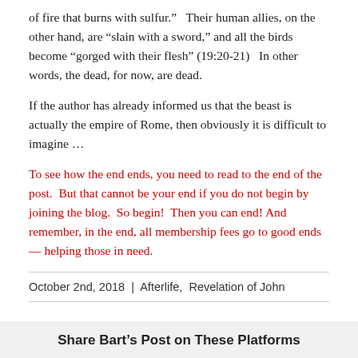of fire that burns with sulfur.”   Their human allies, on the other hand, are “slain with a sword,” and all the birds become “gorged with their flesh” (19:20-21)   In other words, the dead, for now, are dead.
If the author has already informed us that the beast is actually the empire of Rome, then obviously it is difficult to imagine …
To see how the end ends, you need to read to the end of the post.  But that cannot be your end if you do not begin by joining the blog.  So begin!  Then you can end!  And remember, in the end, all membership fees go to good ends — helping those in need.
October 2nd, 2018  |  Afterlife,  Revelation of John
Share Bart’s Post on These Platforms